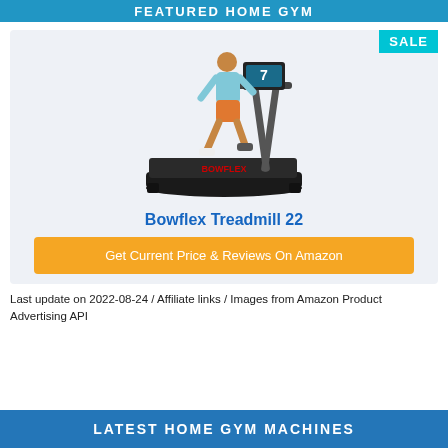FEATURED HOME GYM
[Figure (photo): Person running on a Bowflex Treadmill 22 with SALE badge in top right corner]
Bowflex Treadmill 22
Get Current Price & Reviews On Amazon
Last update on 2022-08-24 / Affiliate links / Images from Amazon Product Advertising API
LATEST HOME GYM MACHINES